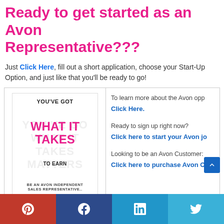Ready to get started as an Avon Representative???
Just Click Here, fill out a short application, choose your Start-Up Option, and just like that you'll be ready to go!
[Figure (illustration): Avon promotional image with text: YOU'VE GOT WHAT IT TAKES TO EARN - BE AN AVON INDEPENDENT SALES REPRESENTATIVE.. with watermark text in background]
To learn more about the Avon opp Click Here.
Ready to sign up right now? Click here to start your Avon jo
Looking to be an Avon Customer: Click here to purchase Avon On
Pinterest | Facebook | LinkedIn | Twitter social share buttons